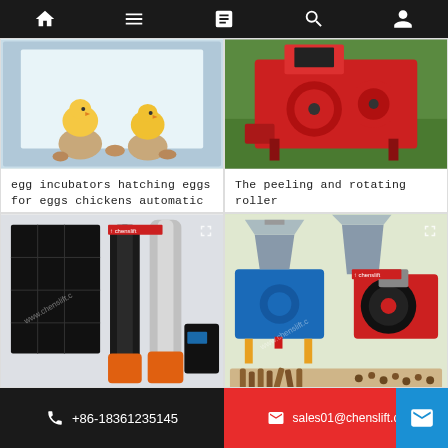Navigation bar with home, menu, document, search, profile icons
[Figure (photo): Baby chicks hatching from eggs in front of an egg incubator machine]
egg incubators hatching eggs for eggs chickens automatic
[Figure (photo): Red peeling and rotating roller machine outdoors on grass]
The peeling and rotating roller
[Figure (photo): Solar powered submersible water pumps with controller box, Chenslift brand]
[Figure (photo): Animal feed pellet making machines with pellets output, Chenslift brand]
+86-18361235145   sales01@chenslift.cc